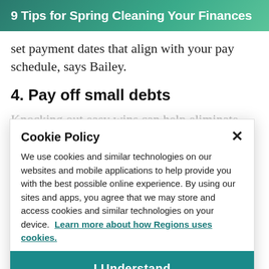9 Tips for Spring Cleaning Your Finances
set payment dates that align with your pay schedule, says Bailey.
4. Pay off small debts
Knocking out easy wins can help eliminate
Cookie Policy

We use cookies and similar technologies on our websites and mobile applications to help provide you with the best possible online experience. By using our sites and apps, you agree that we may store and access cookies and similar technologies on your device. Learn more about how Regions uses cookies.

I Understand
lenders, consolidating them may help minimize